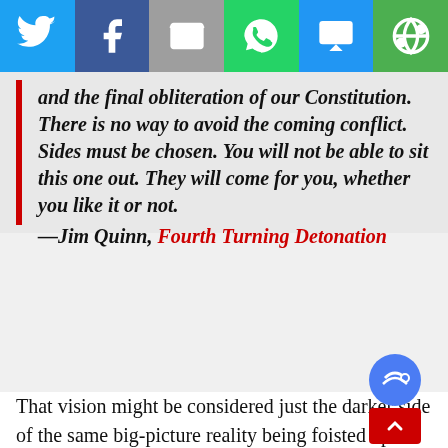[Figure (other): Social media share bar with Twitter, Facebook, Email, WhatsApp, SMS, and other share buttons]
and the final obliteration of our Constitution. There is no way to avoid the coming conflict. Sides must be chosen. You will not be able to sit this one out. They will come for you, whether you like it or not.
—Jim Quinn, Fourth Turning Detonation
That vision might be considered just the darker side of the same big-picture reality being foisted upon the world by the psychopathic elite. The difference is, Quinn is basing his view on evidence before us on every street in the world, indeed trumpeted proudly by that same